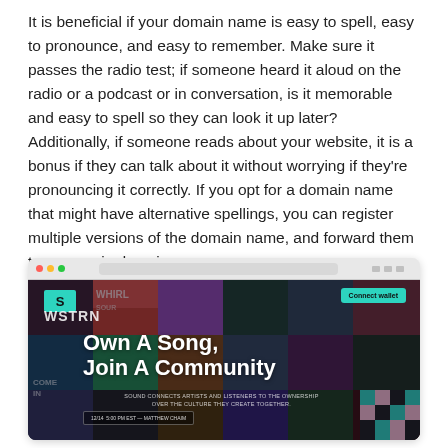It is beneficial if your domain name is easy to spell, easy to pronounce, and easy to remember. Make sure it passes the radio test; if someone heard it aloud on the radio or a podcast or in conversation, is it memorable and easy to spell so they can look it up later? Additionally, if someone reads about your website, it is a bonus if they can talk about it without worrying if they’re pronouncing it correctly. If you opt for a domain name that might have alternative spellings, you can register multiple versions of the domain name, and forward them to your main domain.
[Figure (screenshot): A browser screenshot of a music website called Sound. The site has a dark background with a grid of album artwork images, a teal/mint S logo in the top left, a 'Connect wallet' button in the top right, bold white text reading 'Own A Song, Join A Community', small subtitle text about Sound connecting artists and listeners, and a date/event bar below.]